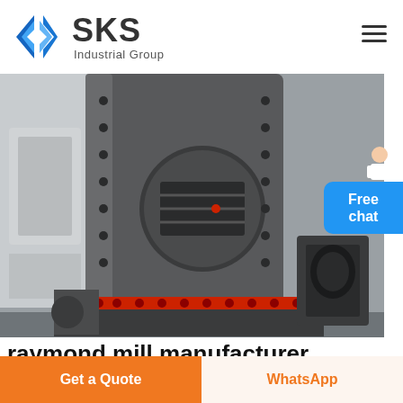[Figure (logo): SKS Industrial Group logo with blue angular S symbol and bold SKS text]
[Figure (photo): Close-up photograph of a large grey Raymond mill industrial grinding machine with red ring detail, bolted flanges, and grated access panel, shown in a factory setting]
[Figure (photo): Small person/chat agent icon above Free chat button widget]
raymond mill manufacturer india
Get a Quote
WhatsApp